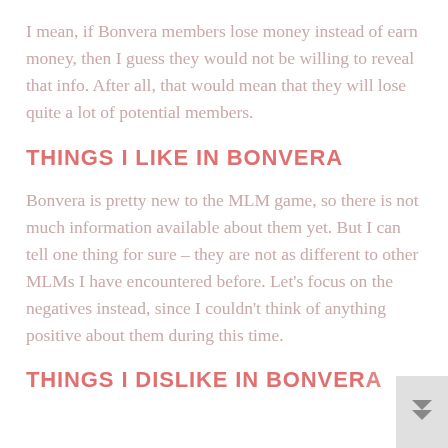I mean, if Bonvera members lose money instead of earn money, then I guess they would not be willing to reveal that info. After all, that would mean that they will lose quite a lot of potential members.
THINGS I LIKE IN BONVERA
Bonvera is pretty new to the MLM game, so there is not much information available about them yet. But I can tell one thing for sure – they are not as different to other MLMs I have encountered before. Let's focus on the negatives instead, since I couldn't think of anything positive about them during this time.
THINGS I DISLIKE IN BONVERA